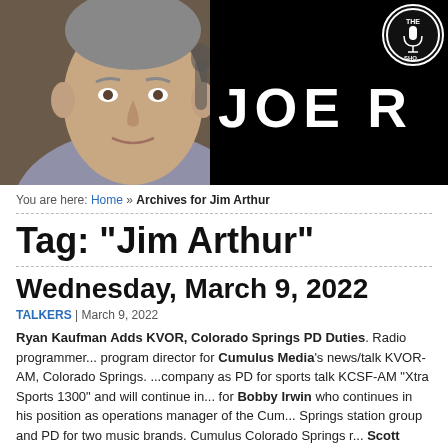[Figure (photo): Banner image showing a man's headshot on the left against a studio background, and on the right a black background with large white text 'JOE R' and a circular logo in the upper right corner]
You are here: Home » Archives for Jim Arthur
Tag: "Jim Arthur"
Wednesday, March 9, 2022
TALKERS | March 9, 2022
Ryan Kaufman Adds KVOR, Colorado Springs PD Duties. Radio programmer... program director for Cumulus Media's news/talk KVOR-AM, Colorado Springs. ...company as PD for sports talk KCSF-AM "Xtra Sports 1300" and will continue in... for Bobby Irwin who continues in his position as operations manager of the Cum... Springs station group and PD for two music brands. Cumulus Colorado Springs r... Scott Jones says, "This is a well-deserved opportunity for Ryan. He's a rising sta...